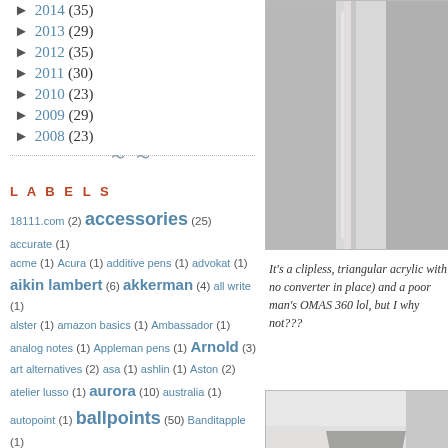► 2014 (35)
► 2013 (29)
► 2012 (35)
► 2011 (30)
► 2010 (23)
► 2009 (29)
► 2008 (23)
LABELS
18111.com (2) accessories (25) accurate (1) acme (1) Acura (1) additive pens (1) advokat (1) aikin lambert (6) akkerman (4) all write (1) alster (1) amazon basics (1) Ambassador (1) analog notes (1) Appleman pens (1) Arnold (3) art alternatives (2) asa (1) ashlin (1) Aston (2) atelier lusso (1) aurora (10) australia (1) autopoint (1) ballpoints (50) Banditapple (1) baoer (3) beena (1) benu (11) berol (1) Bexley (11) bic (4) blackwing (6) bock (1) books (3) borghini (1) boston (1) brahman (1) Bruno Corsini Pens (1) buchan's stationery (10) bungubox (1) burnham (1) butterknife pens
[Figure (photo): Close-up photo of a pen section/barrel against a light background]
It's a clipless, triangular acrylic with no converter in place) and a poor man's OMAS 360 lol, but I why not???
[Figure (photo): Close-up photo of a pen nib against a light background]